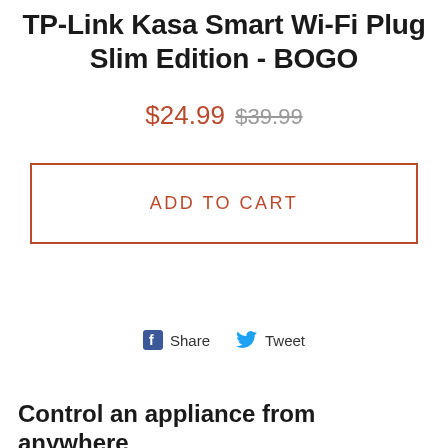TP-Link Kasa Smart Wi-Fi Plug Slim Edition - BOGO
$24.99 $39.99
ADD TO CART
Share  Tweet
Control an appliance from anywhere